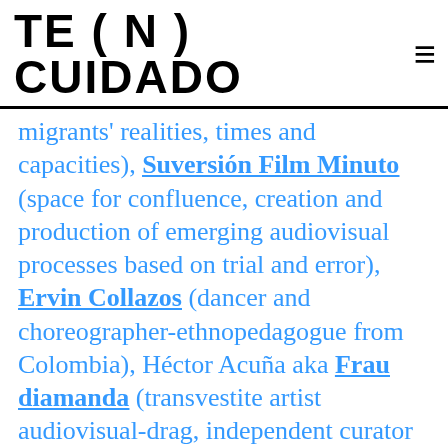TE ( N )  CUIDADO  ≡
migrants' realities, times and capacities), Suversión Film Minuto (space for confluence, creation and production of emerging audiovisual processes based on trial and error), Ervin Collazos (dancer and choreographer-ethnopedagogue from Colombia), Héctor Acuña aka Frau diamanda (transvestite artist audiovisual-drag, independent curator and cultural infector), Veronika Arauzo (sex worker, transgender unionist and activist), Jesús Arpal Moya (artist, member of Equipo Jeleton and partner of La Caníbal cooperativo, among other initiatives in